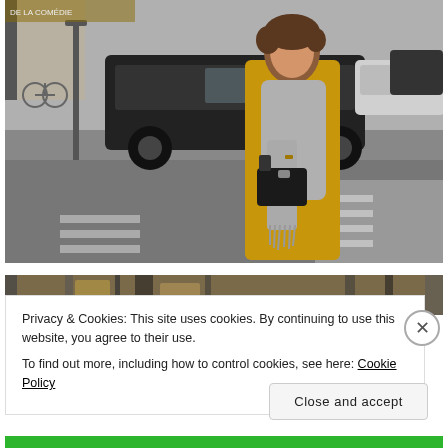[Figure (photo): A woman wearing a mustard yellow coat and grey scarf stands on a city street (appears to be Paris) with traffic passing behind her. She carries a small black quilted handbag.]
[Figure (photo): Partial view of a second street scene photo, mostly obscured by the cookie consent banner.]
Privacy & Cookies: This site uses cookies. By continuing to use this website, you agree to their use.
To find out more, including how to control cookies, see here: Cookie Policy
Close and accept